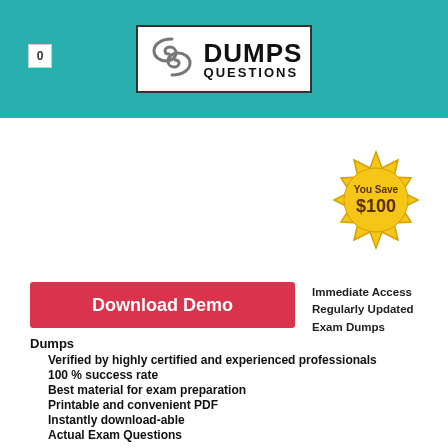0 DUMPS QUESTIONS
[Figure (logo): DumpsQuestions logo with stylized S icon and bold text DUMPS QUESTIONS]
[Figure (illustration): Gold seal badge reading 'You Save $100']
Download Demo
Immediate Access
Regularly Updated Exam Dumps
Verified by highly certified and experienced professionals
100 % success rate
Best material for exam preparation
Printable and convenient PDF
Instantly download-able
Actual Exam Questions